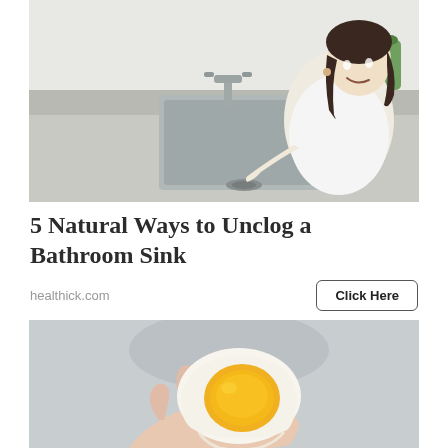[Figure (photo): A smiling woman with dark hair wearing a white long-sleeve shirt, leaning over a stainless steel kitchen sink, appearing to clean or unclog it. Cleaning supplies visible in the background.]
5 Natural Ways to Unclog a Bathroom Sink
healthick.com
[Figure (photo): A hand holding a soft-boiled egg that has been cut in half, showing the runny orange-yellow yolk inside the white egg, with a blurred background.]